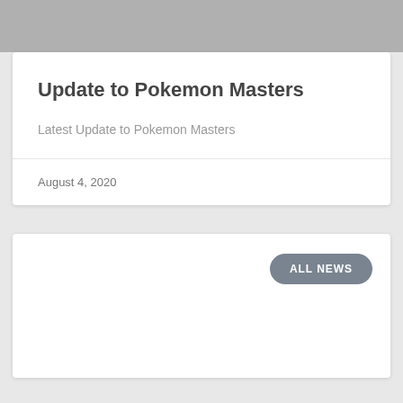Update to Pokemon Masters
Latest Update to Pokemon Masters
August 4, 2020
ALL NEWS